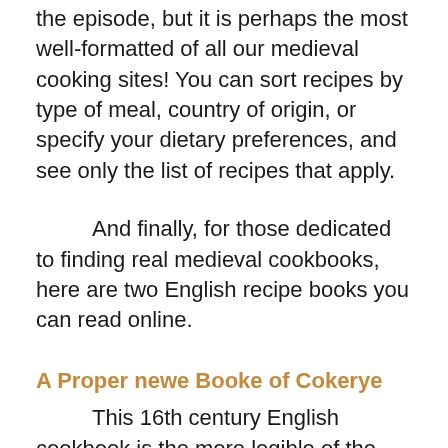the episode, but it is perhaps the most well-formatted of all our medieval cooking sites! You can sort recipes by type of meal, country of origin, or specify your dietary preferences, and see only the list of recipes that apply.
And finally, for those dedicated to finding real medieval cookbooks, here are two English recipe books you can read online.
A Proper newe Booke of Cokerye
This 16th century English cookbook is the more legible of the two cookbooks we present,